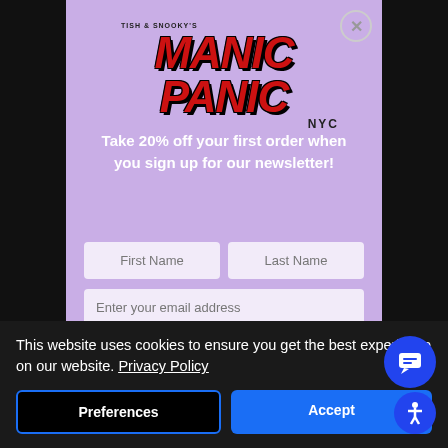[Figure (screenshot): Manic Panic website popup modal with newsletter signup form on a dark background. Logo reads 'TISH & SNOOKY'S MANIC PANIC NYC' in bold red italic text.]
TISH & SNOOKY'S
MANIC PANIC
NYC
Take 20% off your first order when you sign up for our newsletter!
This website uses cookies to ensure you get the best experience on our website. Privacy Policy
Preferences
Accept